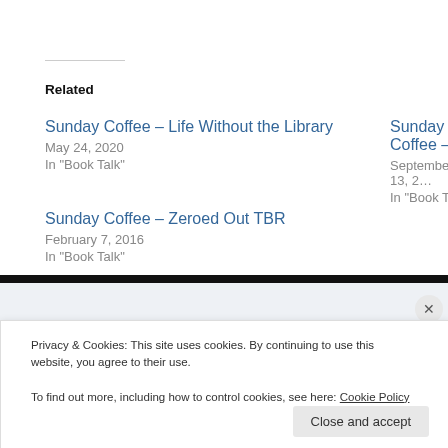Related
Sunday Coffee – Life Without the Library
May 24, 2020
In "Book Talk"
Sunday Coffee –
September 13, 2…
In "Book Talk"
Sunday Coffee – Zeroed Out TBR
February 7, 2016
In "Book Talk"
About Amanda
[Figure (photo): Photo of Amanda outdoors with green foliage background]
Privacy & Cookies: This site uses cookies. By continuing to use this website, you agree to their use.
To find out more, including how to control cookies, see here: Cookie Policy
Close and accept